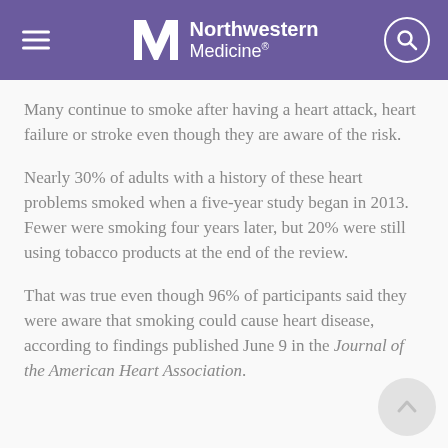Northwestern Medicine
Many continue to smoke after having a heart attack, heart failure or stroke even though they are aware of the risk.
Nearly 30% of adults with a history of these heart problems smoked when a five-year study began in 2013. Fewer were smoking four years later, but 20% were still using tobacco products at the end of the review.
That was true even though 96% of participants said they were aware that smoking could cause heart disease, according to findings published June 9 in the Journal of the American Heart Association.